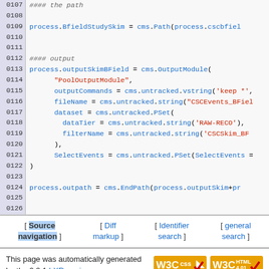[Figure (screenshot): Source code listing lines 0107-0126 showing Python/CMS configuration code with line numbers in left gutter on gray background. Code includes path definition, OutputModule configuration, and EndPath definitions.]
[ Source navigation ] [ Diff markup ] [ Identifier search ] [ general search ]
This page was automatically generated by the 2.2.1 LXR engine. The LXR team
[Figure (logo): W3C CSS validation badge and W3C HTML 4.01 validation badge]